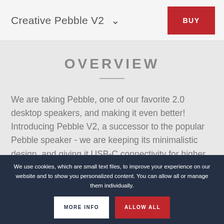Creative Pebble V2   BUY
OVERVIEW
We are taking Pebble, one of our favorite 2.0 desktop speakers, and making it even better! Introducing Pebble V2, a successor to the popular Pebble speaker - we are keeping its minimalistic design, and giving it USB-C connectivity for higher power output!
We use cookies, which are small text files, to improve your experience on our website and to show you personalized content. You can allow all or manage them individually.